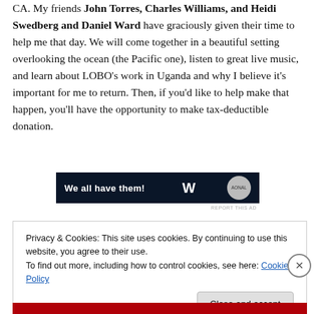CA. My friends John Torres, Charles Williams, and Heidi Swedberg and Daniel Ward have graciously given their time to help me that day. We will come together in a beautiful setting overlooking the ocean (the Pacific one), listen to great live music, and learn about LOBO's work in Uganda and why I believe it's important for me to return. Then, if you'd like to help make that happen, you'll have the opportunity to make tax-deductible donation.
[Figure (other): Advertisement banner with dark navy background reading 'We all have them!' with a W logo and circular badge]
REPORT THIS AD
Privacy & Cookies: This site uses cookies. By continuing to use this website, you agree to their use.
To find out more, including how to control cookies, see here: Cookie Policy
Close and accept